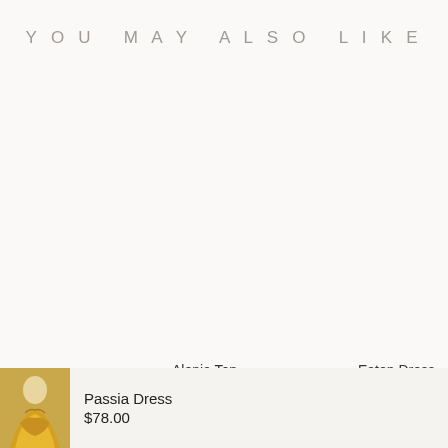YOU MAY ALSO LIKE
Alonia Top
Eaton Dress
[Figure (photo): Small thumbnail photo of a model wearing a gold/yellow floral Passia Dress]
Passia Dress
$78.00